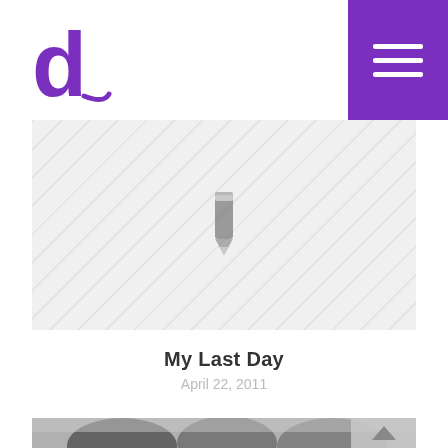d [logo] | hamburger menu
[Figure (illustration): Gray diagonal striped placeholder image with a pencil/edit icon in the center]
My Last Day
April 22, 2011
[Figure (photo): Black and white photo showing three men, likely Yitzhak Rabin, Bill Clinton, and Yasser Arafat, at the Oslo Accords signing]